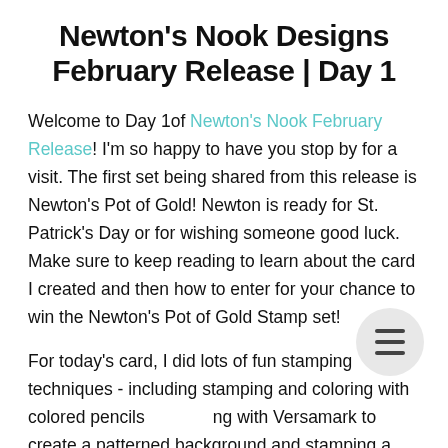Newton's Nook Designs February Release | Day 1
Welcome to Day 1of Newton's Nook February Release! I'm so happy to have you stop by for a visit. The first set being shared from this release is Newton's Pot of Gold! Newton is ready for St. Patrick's Day or for wishing someone good luck. Make sure to keep reading to learn about the card I created and then how to enter for your chance to win the Newton's Pot of Gold Stamp set!
For today's card, I did lots of fun stamping techniques - including stamping and coloring with colored pencils and stamping with Versamark to create a patterned background and stamping a sentiment on a circle die cut. Read on to learn all